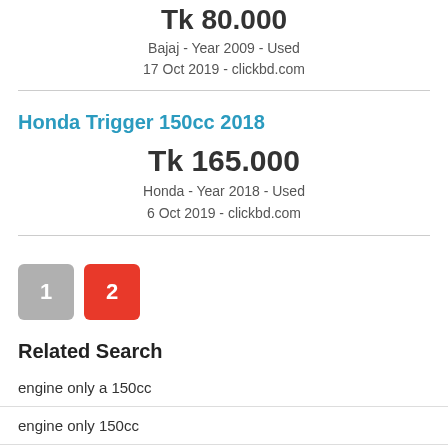Tk 80.000
Bajaj - Year 2009 - Used
17 Oct 2019 - clickbd.com
Honda Trigger 150cc 2018
Tk 165.000
Honda - Year 2018 - Used
6 Oct 2019 - clickbd.com
1  2
Related Search
engine only a 150cc
engine only 150cc
150cc